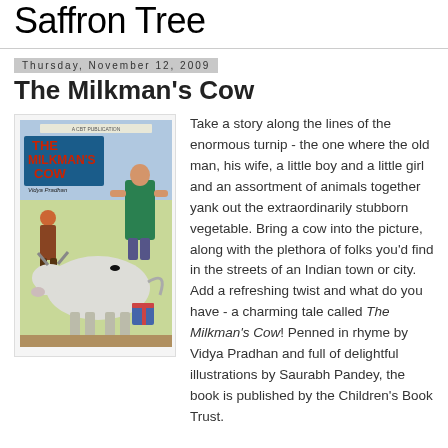Saffron Tree
Thursday, November 12, 2009
The Milkman's Cow
[Figure (illustration): Book cover of 'The Milkman's Cow' by Vidya Pradhan, illustrated by Saurabh Pandey, showing a cow, a milkman, and other figures]
Take a story along the lines of the enormous turnip - the one where the old man, his wife, a little boy and a little girl and an assortment of animals together yank out the extraordinarily stubborn vegetable. Bring a cow into the picture, along with the plethora of folks you'd find in the streets of an Indian town or city. Add a refreshing twist and what do you have - a charming tale called The Milkman's Cow! Penned in rhyme by Vidya Pradhan and full of delightful illustrations by Saurabh Pandey, the book is published by the Children's Book Trust.